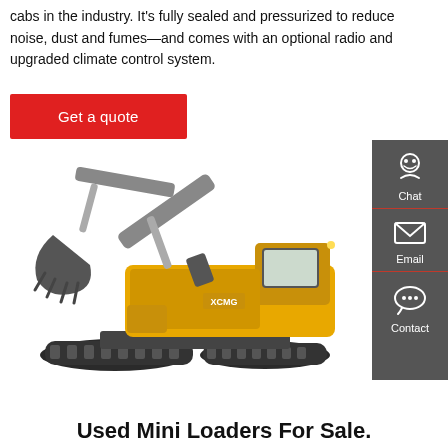cabs in the industry. It's fully sealed and pressurized to reduce noise, dust and fumes—and comes with an optional radio and upgraded climate control system.
Get a quote
[Figure (photo): Yellow crawler excavator with bucket attachment, XCMG brand, photographed against white background]
Used Mini Loaders For Sale.